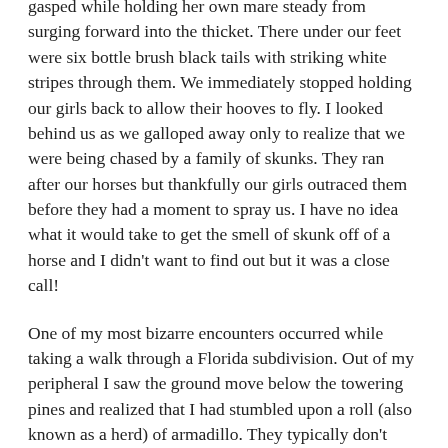gasped while holding her own mare steady from surging forward into the thicket. There under our feet were six bottle brush black tails with striking white stripes through them. We immediately stopped holding our girls back to allow their hooves to fly. I looked behind us as we galloped away only to realize that we were being chased by a family of skunks. They ran after our horses but thankfully our girls outraced them before they had a moment to spray us. I have no idea what it would take to get the smell of skunk off of a horse and I didn't want to find out but it was a close call!
One of my most bizarre encounters occurred while taking a walk through a Florida subdivision. Out of my peripheral I saw the ground move below the towering pines and realized that I had stumbled upon a roll (also known as a herd) of armadillo. They typically don't come out during the day and I had never seen one alive before. I had to bury one that our dog Moose killed on our farm. I remember being shocked to